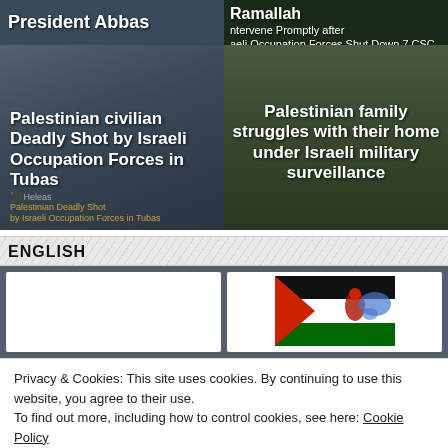[Figure (screenshot): News website screenshot with grid of article thumbnails. Top-left: 'President Abbas' headline on dark background. Top-right: 'Ramallah' headline with text about Israeli Occupation Forces. Bottom-left: 'Palestinian civilian Deadly Shot by Israeli Occupation Forces in Tubas' on dark overlay. Bottom-right: 'Palestinian family struggles with their home under Israeli military surveillance' on dark overlay.]
ENGLISH
[Figure (screenshot): Article grid with two cards. Left card is blank white. Right card shows a flag/map image (Palestinian flag colors with red, green, black, white and a map in blue).]
Privacy & Cookies: This site uses cookies. By continuing to use this website, you agree to their use.
To find out more, including how to control cookies, see here: Cookie Policy
Close and accept